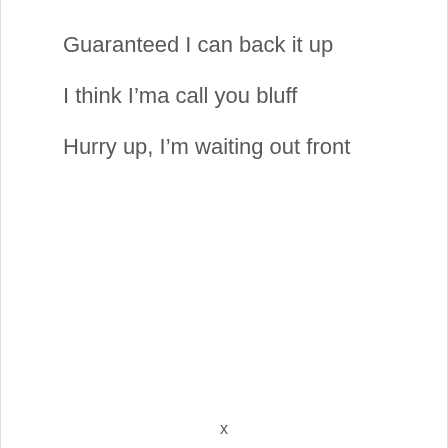Guaranteed I can back it up
I think I’ma call you bluff
Hurry up, I’m waiting out front
x